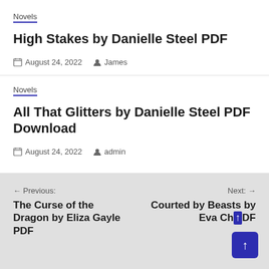Novels
High Stakes by Danielle Steel PDF
August 24, 2022   James
Novels
All That Glitters by Danielle Steel PDF Download
August 24, 2022   admin
Previous: The Curse of the Dragon by Eliza Gayle PDF   Next: Courted by Beasts by Eva Ch...DF